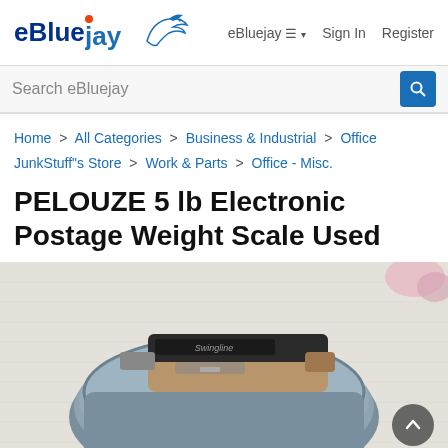eBluejay  eBluejay ☰ ▾  Sign In  Register
Search eBluejay
Home > All Categories > Business & Industrial > Office JunkStuff"s Store > Work & Parts > Office - Misc.
PELOUZE 5 lb Electronic Postage Weight Scale Used
[Figure (photo): Photo of a gray circular postage scale (PELOUZE) with a tan/brown Swingline stapler placed on top of it, resting on a white textured cloth surface.]